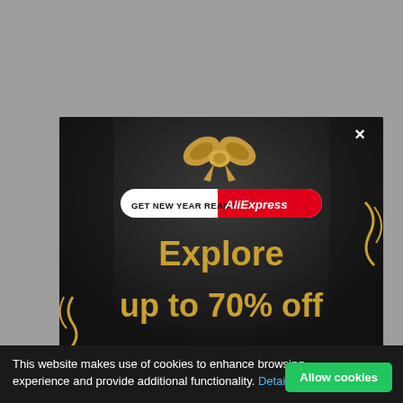[Figure (screenshot): AliExpress New Year popup ad on a gray webpage background. The popup shows a gift bow graphic, a pill-shaped banner reading 'GET NEW YEAR READY AliExpress', and large gold text 'Explore up to 70% off'. A close (×) button appears at the top right of the popup.]
This website makes use of cookies to enhance browsing experience and provide additional functionality. Details
Allow cookies